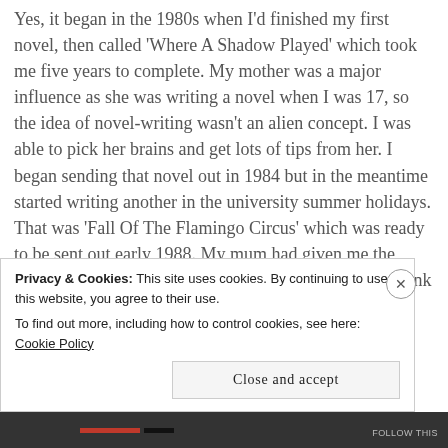Yes, it began in the 1980s when I'd finished my first novel, then called 'Where A Shadow Played' which took me five years to complete. My mother was a major influence as she was writing a novel when I was 17, so the idea of novel-writing wasn't an alien concept. I was able to pick her brains and get lots of tips from her. I began sending that novel out in 1984 but in the meantime started writing another in the university summer holidays. That was 'Fall Of The Flamingo Circus' which was ready to be sent out early 1988. My mum had given me the name of a publishing company in Worcestershire – I think I'd already sent my first
Privacy & Cookies: This site uses cookies. By continuing to use this website, you agree to their use.
To find out more, including how to control cookies, see here: Cookie Policy
Close and accept